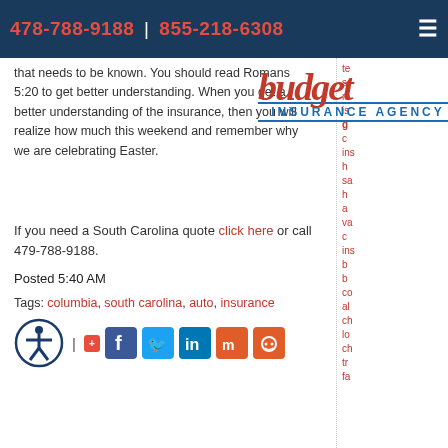478-788-9188 | 855-218-6308
[Figure (logo): Budget Insurance Agency logo with red italic 'budget' text and blue 'INSURANCE AGENCY' subtitle]
that needs to be known. You should read Romans 5:20 to get better understanding. When you get a better understanding of the insurance, then you will realize how much this weekend and remember why we are celebrating Easter.
If you need a South Carolina quote click here or call 479-788-9188.
Posted 5:40 AM
Tags: columbia, south carolina, auto, insurance